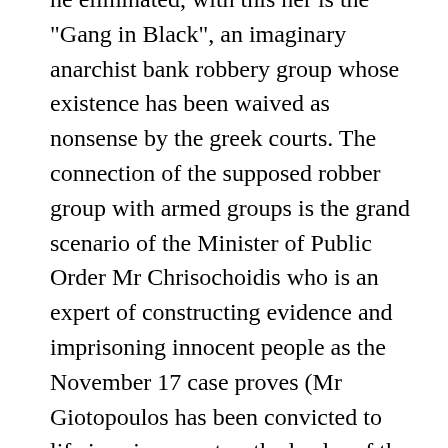he eliminated, with this her is the "Gang in Black", an imaginary anarchist bank robbery group whose existence has been waived as nonsense by the greek courts. The connection of the supposed robber group with armed groups is the grand scenario of the Minister of Public Order Mr Chrisochoidis who is an expert of constructing evidence and imprisoning innocent people as the November 17 case proves (Mr Giotopoulos has been convicted to life imprisonment as the leader of the armed group, with the only evidence against him being a single fingerprint on a book...). According to the latest news the gun of the dead man is a virgin one, meaning it has never been used in any law-